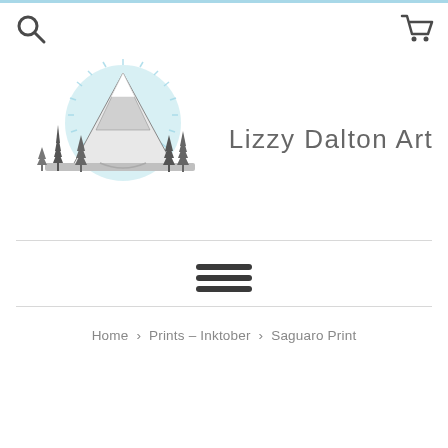[Figure (logo): Lizzy Dalton Art logo: mountain landscape with pine trees and a light blue sunburst circle, with text 'Lizzy Dalton Art' to the right]
[Figure (other): Hamburger menu icon (three horizontal lines)]
Home › Prints – Inktober › Saguaro Print